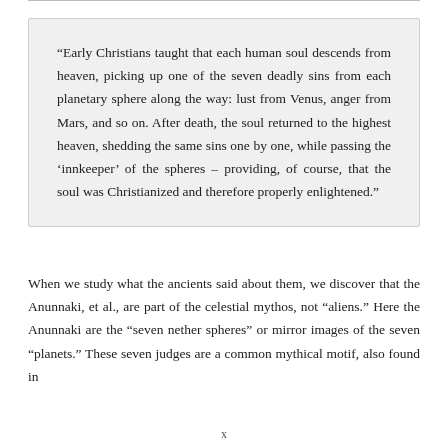“Early Christians taught that each human soul descends from heaven, picking up one of the seven deadly sins from each planetary sphere along the way: lust from Venus, anger from Mars, and so on. After death, the soul returned to the highest heaven, shedding the same sins one by one, while passing the ‘innkeeper’ of the spheres – providing, of course, that the soul was Christianized and therefore properly enlightened.”
When we study what the ancients said about them, we discover that the Anunnaki, et al., are part of the celestial mythos, not “aliens.” Here the Anunnaki are the “seven nether spheres” or mirror images of the seven “planets.” These seven judges are a common mythical motif, also found in
x